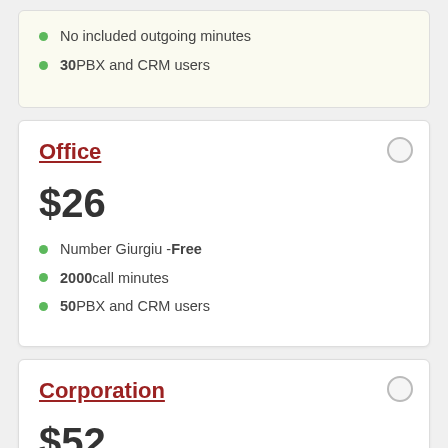No included outgoing minutes
30 PBX and CRM users
Office
$26
Number Giurgiu - Free
2000 call minutes
50 PBX and CRM users
Corporation
$52
Number Giurgiu - Free